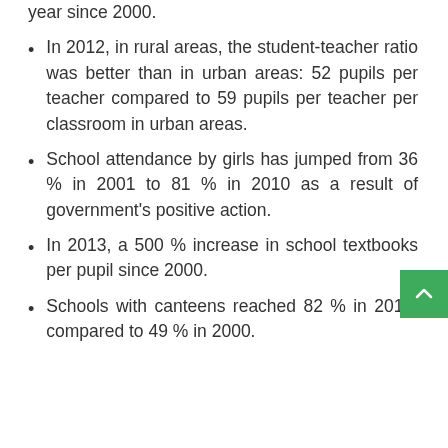year since 2000.
In 2012, in rural areas, the student-teacher ratio was better than in urban areas: 52 pupils per teacher compared to 59 pupils per teacher per classroom in urban areas.
School attendance by girls has jumped from 36 % in 2001 to 81 % in 2010 as a result of government's positive action.
In 2013, a 500 % increase in school textbooks per pupil since 2000.
Schools with canteens reached 82 % in 2011, compared to 49 % in 2000.